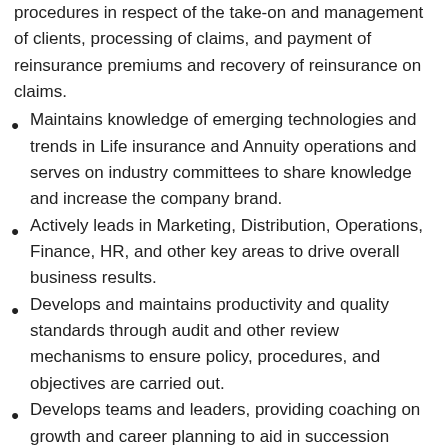procedures in respect of the take-on and management of clients, processing of claims, and payment of reinsurance premiums and recovery of reinsurance on claims.
Maintains knowledge of emerging technologies and trends in Life insurance and Annuity operations and serves on industry committees to share knowledge and increase the company brand.
Actively leads in Marketing, Distribution, Operations, Finance, HR, and other key areas to drive overall business results.
Develops and maintains productivity and quality standards through audit and other review mechanisms to ensure policy, procedures, and objectives are carried out.
Develops teams and leaders, providing coaching on growth and career planning to aid in succession management.
Proactively partners with distribution leadership and external agencies to improve presence, solve challenges and gather the feedback to continually improve the customer experience driving critical value creation and competitive differentiation in